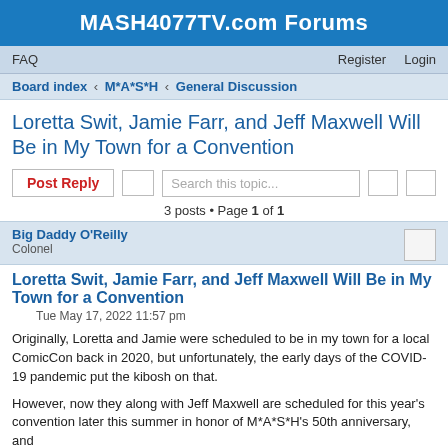MASH4077TV.com Forums
FAQ    Register   Login
Board index › M*A*S*H › General Discussion
Loretta Swit, Jamie Farr, and Jeff Maxwell Will Be in My Town for a Convention
Post Reply   Search this topic...   3 posts • Page 1 of 1
Big Daddy O'Reilly
Colonel
Loretta Swit, Jamie Farr, and Jeff Maxwell Will Be in My Town for a Convention
Tue May 17, 2022 11:57 pm
Originally, Loretta and Jamie were scheduled to be in my town for a local ComicCon back in 2020, but unfortunately, the early days of the COVID-19 pandemic put the kibosh on that.
However, now they along with Jeff Maxwell are scheduled for this year's convention later this summer in honor of M*A*S*H's 50th anniversary, and